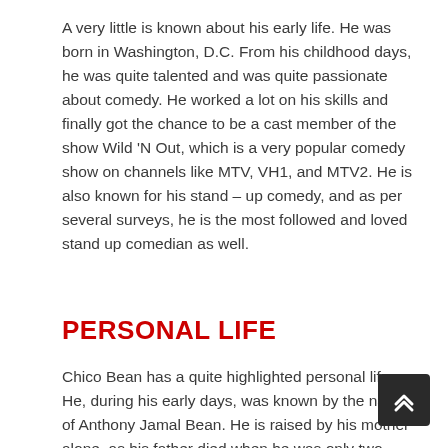A very little is known about his early life. He was born in Washington, D.C. From his childhood days, he was quite talented and was quite passionate about comedy. He worked a lot on his skills and finally got the chance to be a cast member of the show Wild 'N Out, which is a very popular comedy show on channels like MTV, VH1, and MTV2. He is also known for his stand – up comedy, and as per several surveys, he is the most followed and loved stand up comedian as well.
PERSONAL LIFE
Chico Bean has a quite highlighted personal life. He, during his early days, was known by the name of Anthony Jamal Bean. He is raised by his mother alone, as his father died when he was only two years old in the streets of Washington, DC.
He, from the very beginning, was interested in entertainment and soon decided to take up comedy as a